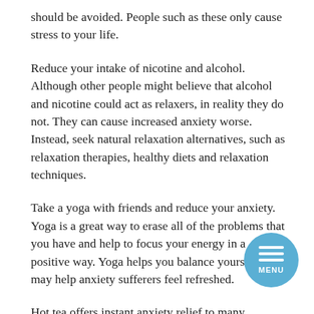should be avoided. People such as these only cause stress to your life.
Reduce your intake of nicotine and alcohol. Although other people might believe that alcohol and nicotine could act as relaxers, in reality they do not. They can cause increased anxiety worse. Instead, seek natural relaxation alternatives, such as relaxation therapies, healthy diets and relaxation techniques.
Take a yoga with friends and reduce your anxiety. Yoga is a great way to erase all of the problems that you have and help to focus your energy in a positive way. Yoga helps you balance yourself and may help anxiety sufferers feel refreshed.
Hot tea offers instant anxiety relief to many individuals to calm themselves. This is a beneficial a technique for relaxation, but don't forget medical